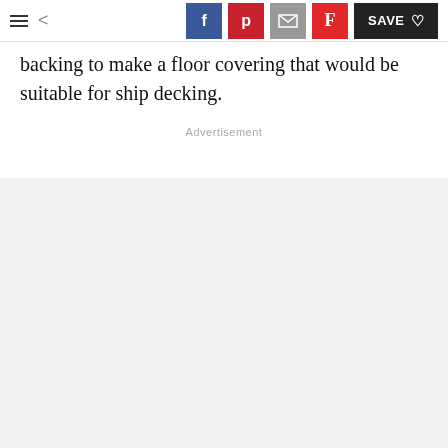Navigation toolbar with menu, back arrow, Facebook, Pinterest, Email, Flipboard share buttons, and Save button
backing to make a floor covering that would be suitable for ship decking.
Advertisement